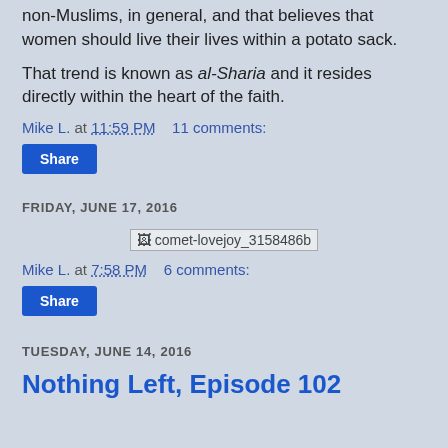non-Muslims, in general, and that believes that women should live their lives within a potato sack.
That trend is known as al-Sharia and it resides directly within the heart of the faith.
Mike L. at 11:59 PM    11 comments:
Share
FRIDAY, JUNE 17, 2016
[Figure (photo): Broken image placeholder: comet-lovejoy_3158486b]
Mike L. at 7:58 PM    6 comments:
Share
TUESDAY, JUNE 14, 2016
Nothing Left, Episode 102